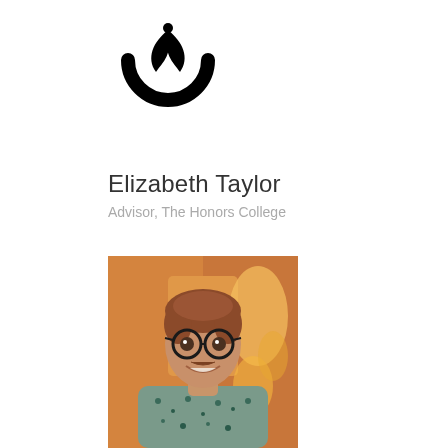[Figure (logo): University or college logo — black bird/leaf design in a partial circle]
Elizabeth Taylor
Advisor, The Honors College
[Figure (photo): Photo of a young man with reddish-brown hair and round glasses, wearing a floral/patterned short-sleeve shirt, smiling, with warm orange background lighting]